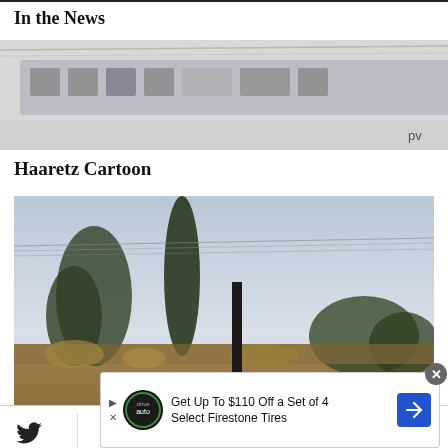In the News
[Figure (photo): Partial view of a blurred news image at the top of the page]
Haaretz Cartoon
[Figure (photo): Outdoor scene with trees, dry brush and a dark pole, under a pale sky]
[Figure (infographic): Mobile toolbar with Twitter, Facebook, menu (blue circle), bookmark, and email icons]
Get Up To $110 Off a Set of 4 Select Firestone Tires